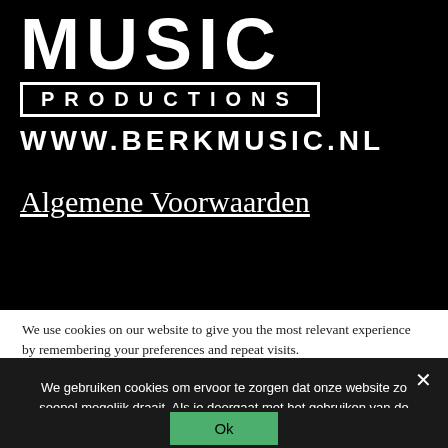[Figure (logo): Berk Music Productions logo with 'MUSIC' in large white bold text, 'PRODUCTIONS' in a white-bordered box, and 'WWW.BERKMUSIC.NL' below, all on black background]
Algemene Voorwaarden
We use cookies on our website to give you the most relevant experience by remembering your preferences and repeat visits.
We gebruiken cookies om ervoor te zorgen dat onze website zo soepel mogelijk draait. Als je doorgaat met het gebruiken van de website, gaan we er vanuit dat ermee instemt.
Ok